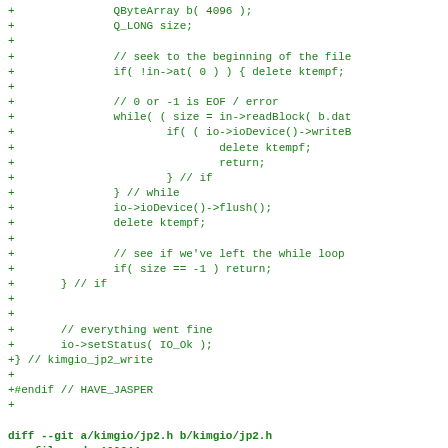Code diff showing additions to kimgio/jp2 file including QByteArray, Q_LONG declarations, file seek/read/write loop, flush, status setting, and closing braces, followed by diff --git a/kimgio/jp2.h b/kimgio/jp2.h new file mode 100644